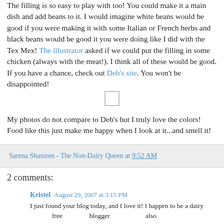The filling is so easy to play with too! You could make it a main dish and add beans to it. I would imagine white beans would be good if you were making it with some Italian or French herbs and black beans would be good it you were doing like I did with the Tex Mex! The illustrator asked if we could put the filling in some chicken (always with the meat!). I think all of these would be good. If you have a chance, check out Deb's site. You won't be disappointed!
[Figure (other): Small placeholder image/checkbox icon]
My photos do not compare to Deb's but I truly love the colors! Food like this just make me happy when I look at it...and smell it!
Sarena Shasteen - The Non-Dairy Queen at 9:52 AM
2 comments:
Kristel  August 29, 2007 at 3:15 PM
I just found your blog today, and I love it! I happen to be a dairy free blogger also